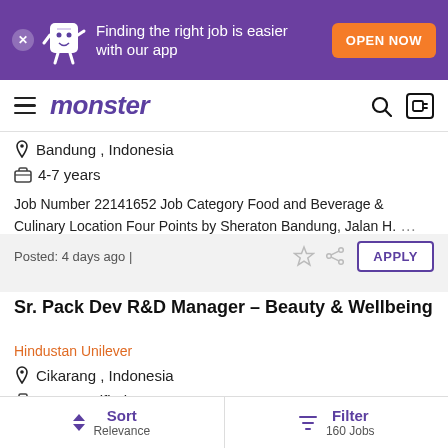[Figure (screenshot): Monster.com job listing app banner with purple background showing mascot and OPEN NOW button]
monster
Bandung , Indonesia
4-7 years
Job Number 22141652 Job Category Food and Beverage & Culinary Location Four Points by Sheraton Bandung, Jalan H. ...
Posted: 4 days ago |
APPLY
Sr. Pack Dev R&D Manager – Beauty & Wellbeing
Hindustan Unilever
Cikarang , Indonesia
Not Specified
Sort Relevance | Filter 160 Jobs